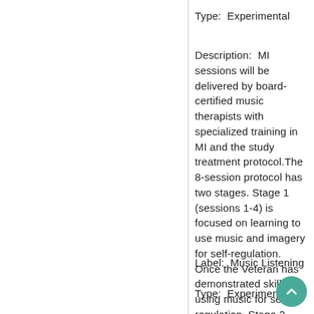Type:  Experimental
Description:  MI sessions will be delivered by board-certified music therapists with specialized training in MI and the study treatment protocol.The 8-session protocol has two stages. Stage 1 (sessions 1-4) is focused on learning to use music and imagery for self-regulation. Once the Veteran has demonstrated skill in using music for self-regulation, Stage 2 (sessions 5-8) shifts to identify and deepen their inner resources and how they can use those resources for self-care.
Label:  Music Listening
Type:  Experimental